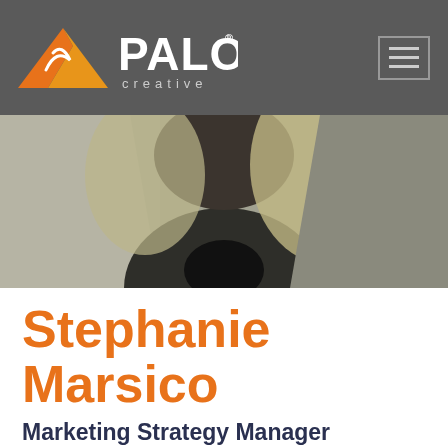PALO creative
[Figure (photo): Professional headshot photo of a woman with blonde hair wearing a black turtleneck and grey blazer]
Stephanie Marsico
Marketing Strategy Manager
Meet Stephanie. She appreciates photography